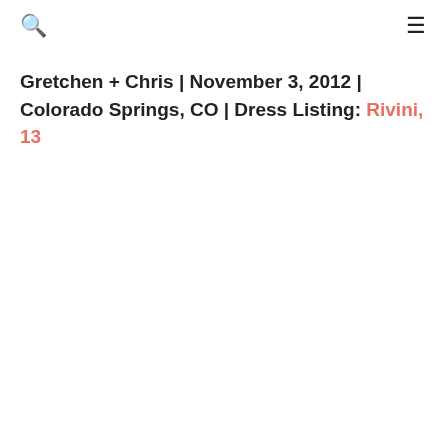🔍  ≡
Gretchen + Chris | November 3, 2012 | Colorado Springs, CO | Dress Listing: Rivini, 13